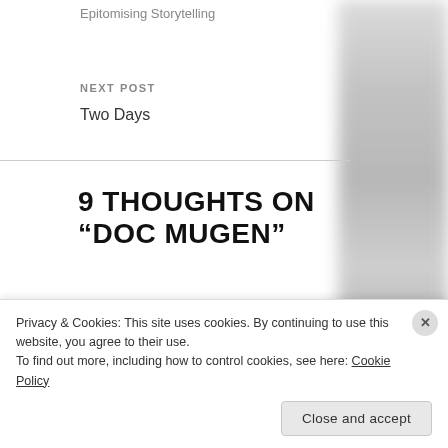Epitomising Storytelling
NEXT POST
Two Days
9 THOUGHTS ON “DOC MUGEN”
[Figure (illustration): Pink cartoon monster avatar with blue wings and antennae in a circular frame]
M says:
November 2, 2013 at 18:26
Goodbye Flufferpuss!! Much love with
Privacy & Cookies: This site uses cookies. By continuing to use this website, you agree to their use.
To find out more, including how to control cookies, see here: Cookie Policy
Close and accept
[Figure (photo): Blurred grey-toned photo on right side of page]